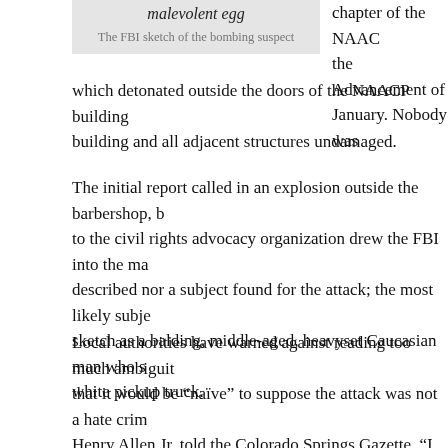malevolent egg
The FBI sketch of the bombing suspect
chapter of the NAACP the Advancement of January. Nobody was which detonated outside the doors of the NAACP building building and all adjacent structures undamaged.
The initial report called in an explosion outside the barbershop, b to the civil rights advocacy organization drew the FBI into the ma described nor a subject found for the attack; the most likely subje sketch as a balding, middle-aged, heavyset Caucasian man who s white pickup truck.
Local authorities have warned against reading too much ambiguit that it would be “naïve” to suppose the attack was not a hate crim Henry Allen Jr. told the Colorado Springs Gazette, “I don’t think amount of manpower and resources if they didn’t think there was device. I would love to think there was no one who would want to